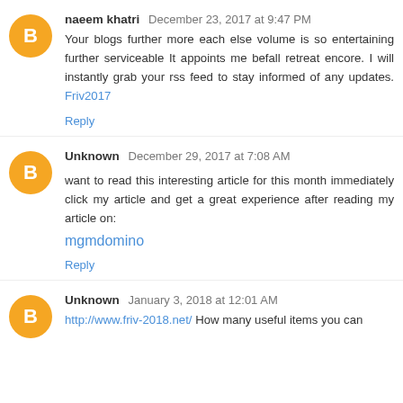naeem khatri December 23, 2017 at 9:47 PM
Your blogs further more each else volume is so entertaining further serviceable It appoints me befall retreat encore. I will instantly grab your rss feed to stay informed of any updates. Friv2017
Reply
Unknown December 29, 2017 at 7:08 AM
want to read this interesting article for this month immediately click my article and get a great experience after reading my article on: mgmdomino
Reply
Unknown January 3, 2018 at 12:01 AM
http://www.friv-2018.net/ How many useful items you can